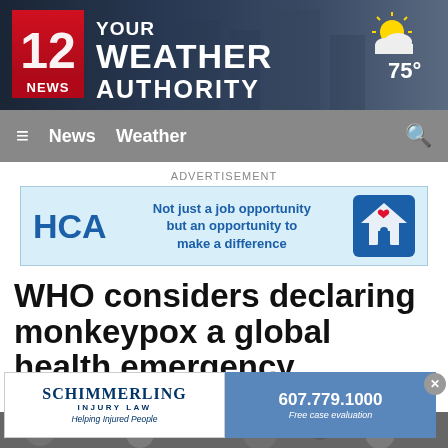[Figure (screenshot): 12 News - Your Weather Authority logo banner with dark blue city background and 75° temperature with partly cloudy weather icon]
≡  News  Weather  🔍
ADVERTISEMENT
[Figure (other): HCA advertisement banner: Not just a job opportunity but an opportunity to make a difference - with house/family logo]
WHO considers declaring monkeypox a global health emergency
[Figure (photo): Microscope image of monkeypox virus particles]
[Figure (other): Schimmerling Injury Law advertisement - 607.779.1000 - Free case evaluation - Helping Injured People]